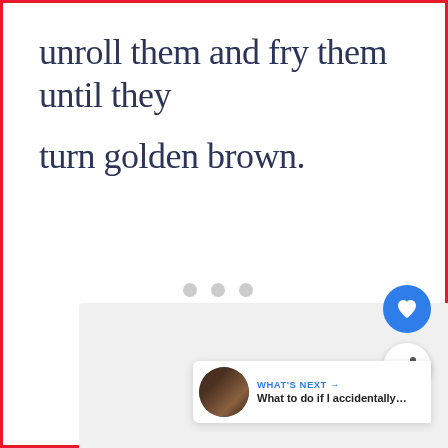…unroll them and fry them until they turn golden brown.
[Figure (photo): Light gray image placeholder area with three gray dots indicating loading content, and social media action buttons (heart/like button in blue, share button in white) overlaid on the right side. A 'WHAT'S NEXT' card appears at the bottom right with a dark thumbnail and the text 'What to do if I accidentally…']